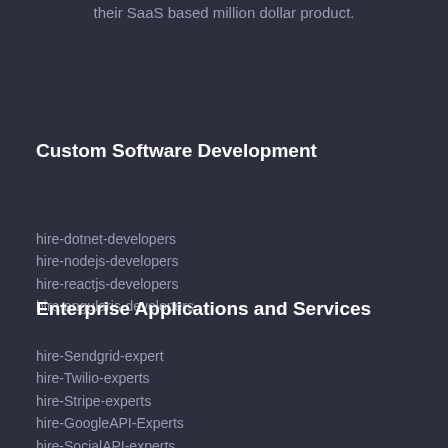their SaaS based million dollar product.
Custom Software Development
hire-dotnet-developers
hire-nodejs-developers
hire-reactjs-developers
hire-angularjs-developers
Enterprise Applications and Services
hire-Sendgrid-expert
hire-Twilio-experts
hire-Stripe-experts
hire-GoogleAPI-Experts
hire-SocialAPI-experts